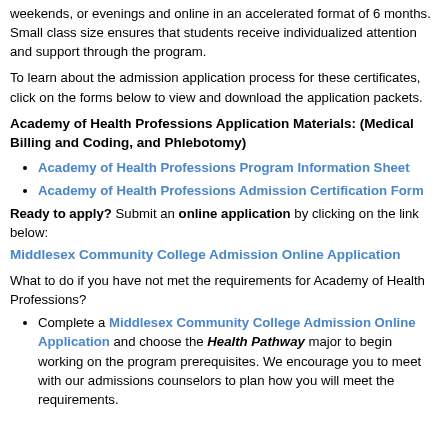weekends, or evenings and online in an accelerated format of 6 months. Small class size ensures that students receive individualized attention and support through the program.
To learn about the admission application process for these certificates, click on the forms below to view and download the application packets.
Academy of Health Professions Application Materials: (Medical Billing and Coding, and Phlebotomy)
Academy of Health Professions Program Information Sheet
Academy of Health Professions Admission Certification Form
Ready to apply? Submit an online application by clicking on the link below:
Middlesex Community College Admission Online Application
What to do if you have not met the requirements for Academy of Health Professions?
Complete a Middlesex Community College Admission Online Application and choose the Health Pathway major to begin working on the program prerequisites. We encourage you to meet with our admissions counselors to plan how you will meet the requirements.